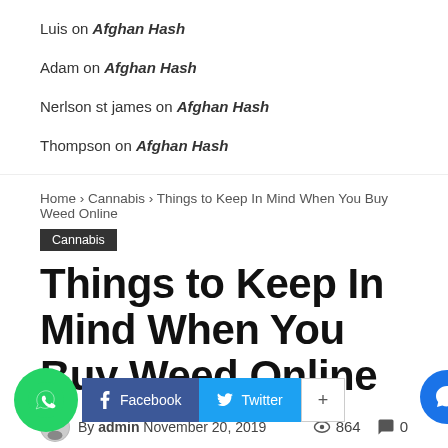Luis on Afghan Hash
Adam on Afghan Hash
Nerlson st james on Afghan Hash
Thompson on Afghan Hash
Home › Cannabis › Things to Keep In Mind When You Buy Weed Online
Cannabis
Things to Keep In Mind When You Buy Weed Online
By admin November 20, 2019  864  0